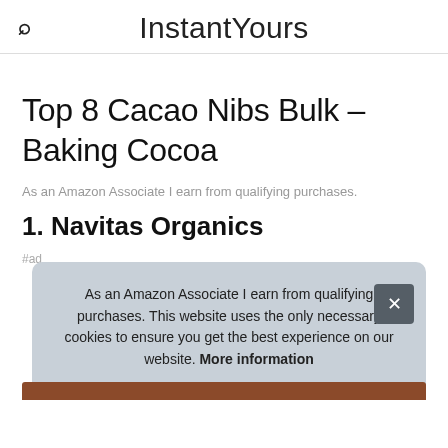InstantYours
Top 8 Cacao Nibs Bulk – Baking Cocoa
As an Amazon Associate I earn from qualifying purchases.
1. Navitas Organics
#ad
As an Amazon Associate I earn from qualifying purchases. This website uses the only necessary cookies to ensure you get the best experience on our website. More information